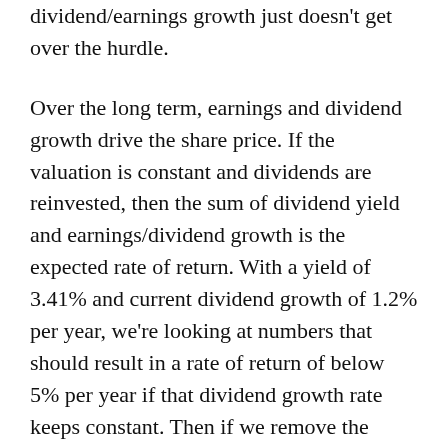dividend/earnings growth just doesn't get over the hurdle.
Over the long term, earnings and dividend growth drive the share price. If the valuation is constant and dividends are reinvested, then the sum of dividend yield and earnings/dividend growth is the expected rate of return. With a yield of 3.41% and current dividend growth of 1.2% per year, we're looking at numbers that should result in a rate of return of below 5% per year if that dividend growth rate keeps constant. Then if we remove the assumption that valuation is constant, the results may be worse, because after this bull market the P/E is over 18 and the Shiller P/E of the market is currently above